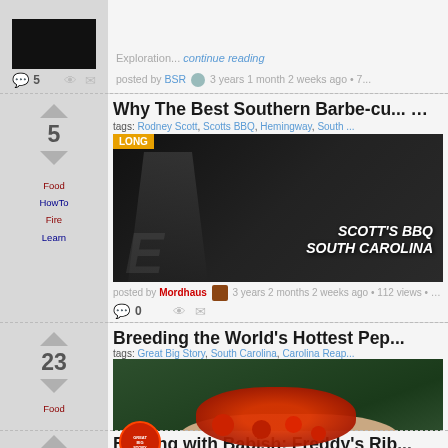Exploration... continue reading
posted by BSR 3 years 1 month 2 weeks ago • 7...
5 comments
Why The Best Southern Barbecue Takes Weeks To Make
tags: Rodney Scott, Scotts BBQ, Hemingway, South ...
[Figure (photo): Scott's BBQ South Carolina promo image with man in red apron]
posted by Mordhaus 3 years 2 months 2 weeks ago • 112 views • 13:20
0 comments
Vote: 5, Tags: Food, HowTo, Fire, Learn
Breeding the World's Hottest Pep...
tags: Great Big Story, South Carolina, Carolina Reap...
[Figure (photo): Hands holding red Carolina Reaper peppers with Great Big Story logo]
YouTube description: In the competitive world of pepper breeding, one man is smoking the competition. Meet "Smokin'" Ed Currie. He's the man behind the world's hottest pepper—the "Carolina...
posted by Aard Vark (oritteropo) 5 years 1 month ago • 722 views • 3:19
2 comments
Vote: 23, Tags: Food
Binging with Babish: Freddy's Rib...